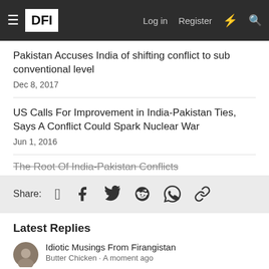DFI | Log in | Register
Pakistan Accuses India of shifting conflict to sub conventional level
Dec 8, 2017
US Calls For Improvement in India-Pakistan Ties, Says A Conflict Could Spark Nuclear War
Jun 1, 2016
The Root Of India-Pakistan Conflicts
Share:
Latest Replies
Idiotic Musings From Firangistan
Butter Chicken · A moment ago
India Pakistan conflict along IB and LoC (July 2021)
ezsasa · 1 minute ago